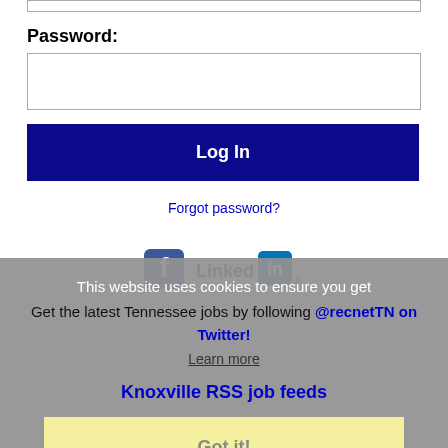Password:
[Figure (screenshot): Password input field (empty text box)]
Log In
Forgot password?
[Figure (logo): Facebook and LinkedIn social media icons]
This website uses cookies to ensure you get
Get the latest Tennessee jobs by following @recnetTN on Twitter!
Learn more
Knoxville RSS job feeds
Got it!